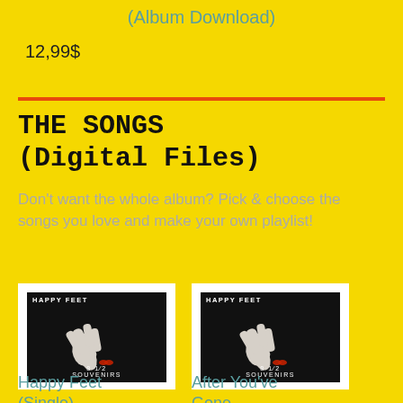(Album Download)
12,99$
THE SONGS
(Digital Files)
Don't want the whole album? Pick & choose the songs you love and make your own playlist!
[Figure (photo): Album cover for 8 1/2 Souvenirs - Happy Feet, showing two hands making a gesture on a black background with a red kiss mark]
[Figure (photo): Album cover for 8 1/2 Souvenirs - Happy Feet, showing two hands making a gesture on a black background with a red kiss mark]
Happy Feet (Single)
After You've Gone